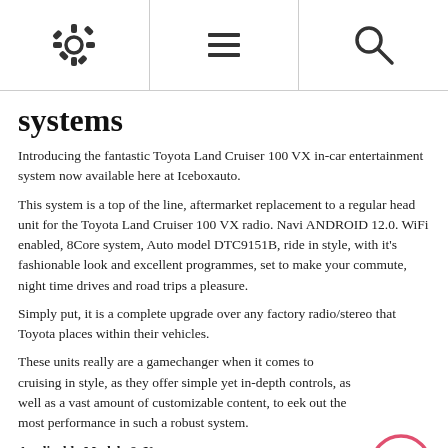[settings icon] [menu icon] [search icon]
systems
Introducing the fantastic Toyota Land Cruiser 100 VX in-car entertainment system now available here at Iceboxauto.
This system is a top of the line, aftermarket replacement to a regular head unit for the Toyota Land Cruiser 100 VX radio. Navi ANDROID 12.0. WiFi enabled, 8Core system, Auto model DTC9151B, ride in style, with it's fashionable look and excellent programmes, set to make your commute, night time drives and road trips a pleasure.
Simply put, it is a complete upgrade over any factory radio/stereo that Toyota places within their vehicles.
These units really are a gamechanger when it comes to cruising in style, as they offer simple yet in-depth controls, as well as a vast amount of customizable content, to eek out the most performance in such a robust system.
Applicable Models & Years:
For Toyota Land Cruiser 100 VX 2002, 2003, 2004, 2005, 2006, 2007.